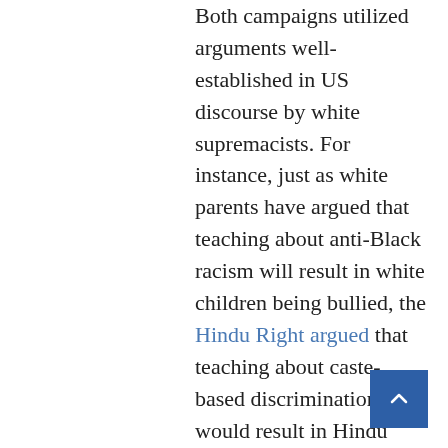Both campaigns utilized arguments well-established in US discourse by white supremacists. For instance, just as white parents have argued that teaching about anti-Black racism will result in white children being bullied, the Hindu Right argued that teaching about caste-based discrimination would result in Hindu (upper caste) children being bullied. White supremacists and Hindu supremacists share a desire to discriminate without consequences.

The Hindu Right has also